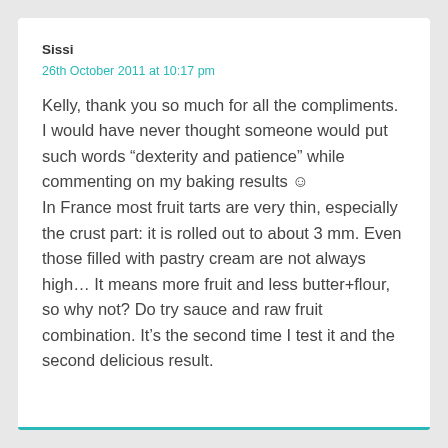Sissi
26th October 2011 at 10:17 pm
Kelly, thank you so much for all the compliments. I would have never thought someone would put such words “dexterity and patience” while commenting on my baking results ☺
In France most fruit tarts are very thin, especially the crust part: it is rolled out to about 3 mm. Even those filled with pastry cream are not always high… It means more fruit and less butter+flour, so why not? Do try sauce and raw fruit combination. It’s the second time I test it and the second delicious result.